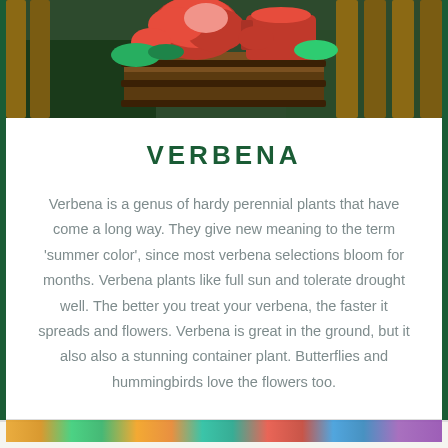[Figure (photo): Photo of red verbena flowers in a wooden barrel planter with a red watering can, surrounded by wooden fence in background]
VERBENA
Verbena is a genus of hardy perennial plants that have come a long way. They give new meaning to the term 'summer color', since most verbena selections bloom for months. Verbena plants like full sun and tolerate drought well. The better you treat your verbena, the faster it spreads and flowers. Verbena is great in the ground, but it also also a stunning container plant. Butterflies and hummingbirds love the flowers too.